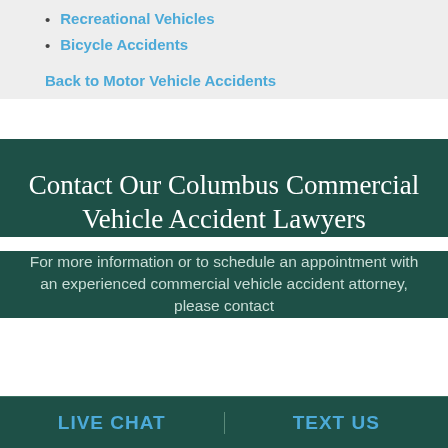Recreational Vehicles
Bicycle Accidents
Back to Motor Vehicle Accidents
Contact Our Columbus Commercial Vehicle Accident Lawyers
For more information or to schedule an appointment with an experienced commercial vehicle accident attorney, please contact
LIVE CHAT   TEXT US